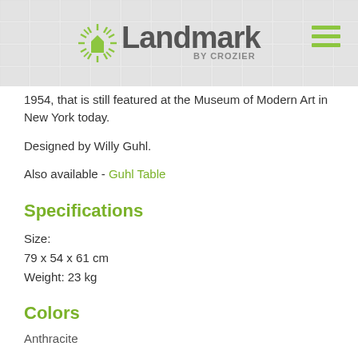[Figure (logo): Landmark by Crozier logo with green starburst icon and hamburger menu icon]
1954, that is still featured at the Museum of Modern Art in New York today.
Designed by Willy Guhl.
Also available - Guhl Table
Specifications
Size:
79 x 54 x 61 cm
Weight: 23 kg
Colors
Anthracite